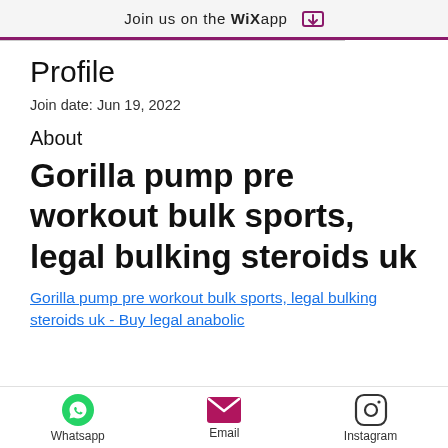Join us on the WiX app
Profile
Join date: Jun 19, 2022
About
Gorilla pump pre workout bulk sports, legal bulking steroids uk
Gorilla pump pre workout bulk sports, legal bulking steroids uk - Buy legal anabolic
Whatsapp   Email   Instagram